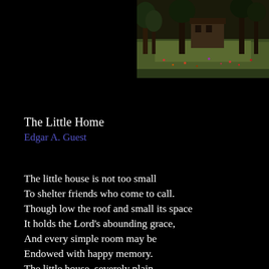[Figure (photo): Painting of a rural landscape with trees, a building, and a meadow with flowers, in muted earth and green tones.]
The Little Home
Edgar A. Guest
The little house is not too small
To shelter friends who come to call.
Though low the roof and small its space
It holds the Lord's abounding grace,
And every simple room may be
Endowed with happy memory.
The little house, severely plain,
A wealth of beauty may contain.
Within it those who dwell may find
High faith which makes for peace of mind,
And that sweet understanding which
Can make the poorest cottage rich.